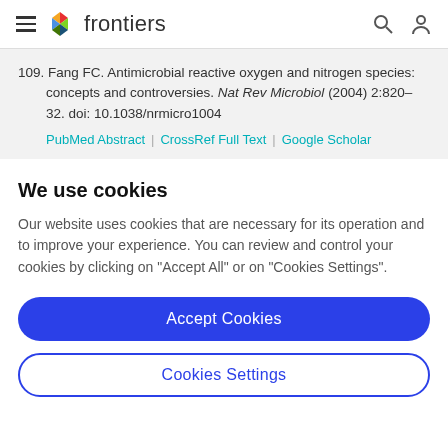frontiers
109. Fang FC. Antimicrobial reactive oxygen and nitrogen species: concepts and controversies. Nat Rev Microbiol (2004) 2:820–32. doi: 10.1038/nrmicro1004 | PubMed Abstract | CrossRef Full Text | Google Scholar
We use cookies
Our website uses cookies that are necessary for its operation and to improve your experience. You can review and control your cookies by clicking on "Accept All" or on "Cookies Settings".
Accept Cookies
Cookies Settings